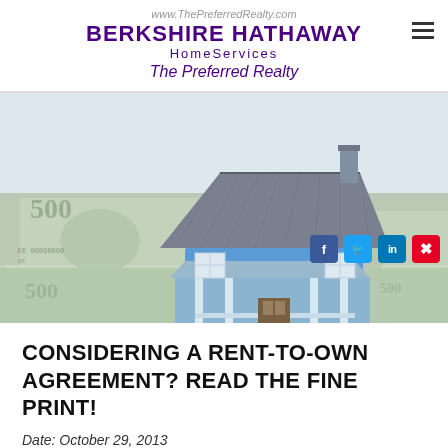www.ThePreferredRealty.com
BERKSHIRE HATHAWAY
HomeServices
The Preferred Realty
[Figure (photo): A miniature blue house model sitting on top of a stack of US dollar bills (hundred dollar bills), representing real estate and finance/rent-to-own concept.]
CONSIDERING A RENT-TO-OWN AGREEMENT? READ THE FINE PRINT!
Date: October 29, 2013